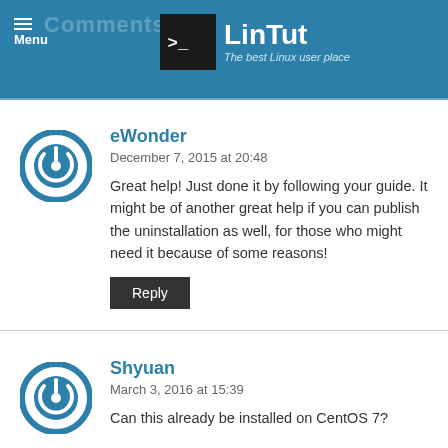LinTut – The best Linux user place
eWonder
December 7, 2015 at 20:48
Great help! Just done it by following your guide. It might be of another great help if you can publish the uninstallation as well, for those who might need it because of some reasons!
Reply
Shyuan
March 3, 2016 at 15:39
Can this already be installed on CentOS 7?